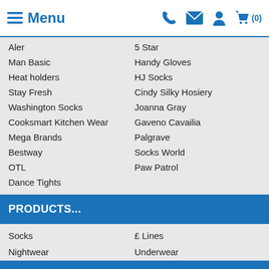Menu
Aler
5 Star
Man Basic
Handy Gloves
Heat holders
HJ Socks
Stay Fresh
Cindy Silky Hosiery
Washington Socks
Joanna Gray
Cooksmart Kitchen Wear
Gaveno Cavailia
Mega Brands
Palgrave
Bestway
Socks World
OTL
Paw Patrol
Dance Tights
PRODUCTS...
Socks
£ Lines
Nightwear
Underwear
Hats, gloves & scarves
Hosiery
Footwear
New Products